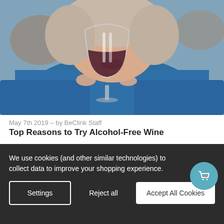[Figure (photo): A woman in a blue sweater holding a wine glass with red wine up to her lips, photo cropped to show from nose down with blurred background]
May 7th 2019 – by BeClink Staff
Top Reasons to Try Alcohol-Free Wine
At this point, you've probably already heard about the latest crazy in sober living: alcohol-free wine. It might sound
We use cookies (and other similar technologies) to collect data to improve your shopping experience.